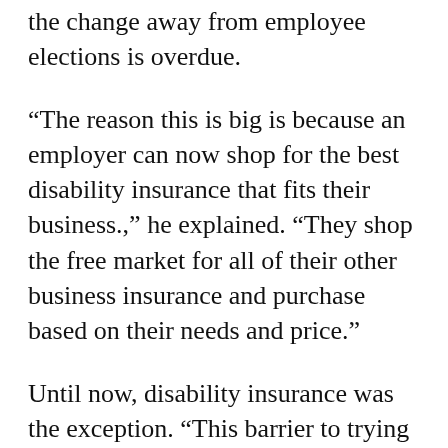the change away from employee elections is overdue.
“The reason this is big is because an employer can now shop for the best disability insurance that fits their business.,” he explained. “They shop the free market for all of their other business insurance and purchase based on their needs and price.”
Until now, disability insurance was the exception. “This barrier to trying to remove yourself from the state plan never really gave the employers the freedom to go out and shop for better service or a better rate.”
Foschino adds that ability to shop the market benefits both New Jersey employers and employees. Employers can save money and the